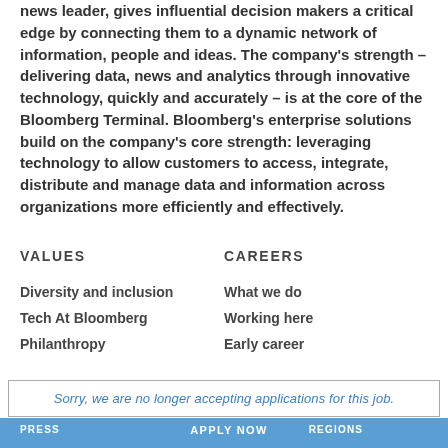news leader, gives influential decision makers a critical edge by connecting them to a dynamic network of information, people and ideas. The company's strength – delivering data, news and analytics through innovative technology, quickly and accurately – is at the core of the Bloomberg Terminal. Bloomberg's enterprise solutions build on the company's core strength: leveraging technology to allow customers to access, integrate, distribute and manage data and information across organizations more efficiently and effectively.
VALUES
CAREERS
Diversity and inclusion
What we do
Tech At Bloomberg
Working here
Philanthropy
Early career
Sorry, we are no longer accepting applications for this job.
PRESS   APPLY NOW   REGIONS
Press contacts
Brasil